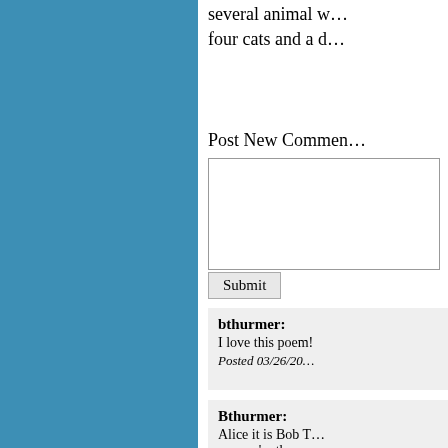several animal w… four cats and a d…
Post New Commen…
Submit
bthurmer:
I love this poem!
Posted 03/26/20…
Bthurmer:
Alice it is Bob T… you we're the pe… been diagnosed w… you. I hope to he… is well with you.
Posted 05/30/20…